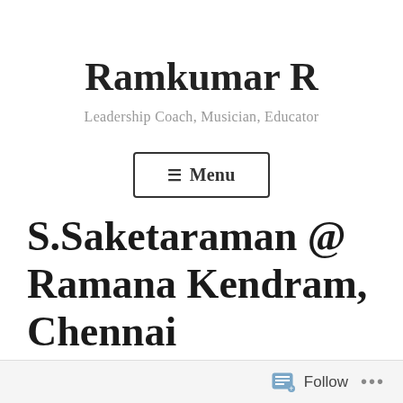Ramkumar R
Leadership Coach, Musician, Educator
☰ Menu
S.Saketaraman @ Ramana Kendram, Chennai
Follow ...